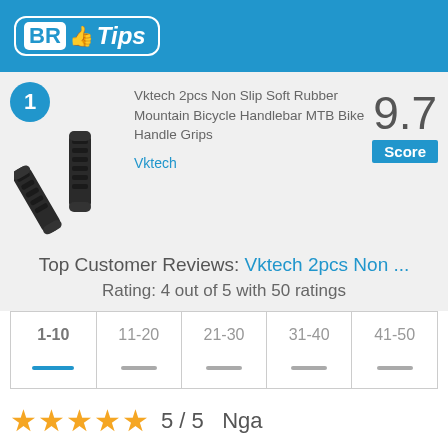BR Tips
[Figure (photo): Black rubber mountain bicycle handlebar grips, two pieces shown]
Vktech 2pcs Non Slip Soft Rubber Mountain Bicycle Handlebar MTB Bike Handle Grips
Vktech
9.7 Score
Top Customer Reviews: Vktech 2pcs Non ...
Rating: 4 out of 5 with 50 ratings
| 1-10 | 11-20 | 21-30 | 31-40 | 41-50 |
| --- | --- | --- | --- | --- |
| - | - | - | - | - |
5 / 5   Nga